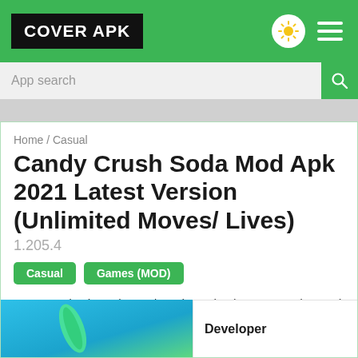COVER APK
App search
Home / Casual
Candy Crush Soda Mod Apk 2021 Latest Version (Unlimited Moves/ Lives)
1.205.4
Casual
Games (MOD)
Free Download Candy Crush Soda Mod Apk Latest Version Hack (Unlimited Moves/ Lives), Unlock ALL, Free on Android & No Ads.
Developer